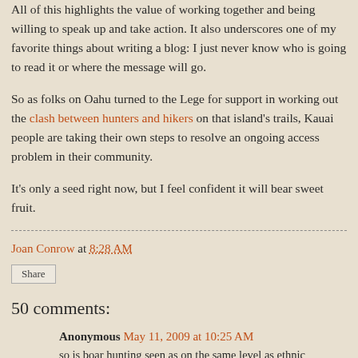All of this highlights the value of working together and being willing to speak up and take action. It also underscores one of my favorite things about writing a blog: I just never know who is going to read it or where the message will go.
So as folks on Oahu turned to the Lege for support in working out the clash between hunters and hikers on that island's trails, Kauai people are taking their own steps to resolve an ongoing access problem in their community.
It's only a seed right now, but I feel confident it will bear sweet fruit.
Joan Conrow at 8:28 AM
Share
50 comments:
Anonymous May 11, 2009 at 10:25 AM
so is boar hunting seen as on the same level as ethnic